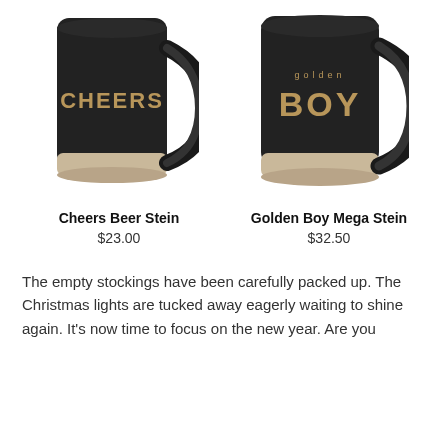[Figure (photo): Two black beer steins side by side. Left mug has 'CHEERS' text in gold on the front with a natural/beige base. Right mug has 'golden BOY' text in gold on the front with a natural/beige base.]
Cheers Beer Stein
$23.00
Golden Boy Mega Stein
$32.50
The empty stockings have been carefully packed up. The Christmas lights are tucked away eagerly waiting to shine again. It's now time to focus on the new year. Are you